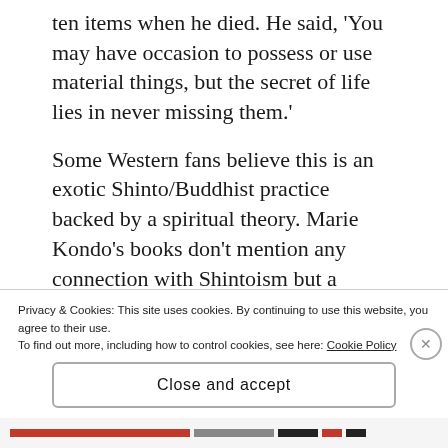ten items when he died. He said, 'You may have occasion to possess or use material things, but the secret of life lies in never missing them.'
Some Western fans believe this is an exotic Shinto/Buddhist practice backed by a spiritual theory. Marie Kondo's books don't mention any connection with Shintoism but a 'Chinese whisper' connection with spirituality circulates, even a 'theory of austerity'.  Marie Kondo actually attended Tokyo Women's Christian University to study sociology. As a practitioner of Japanese
Privacy & Cookies: This site uses cookies. By continuing to use this website, you agree to their use.
To find out more, including how to control cookies, see here: Cookie Policy
Close and accept